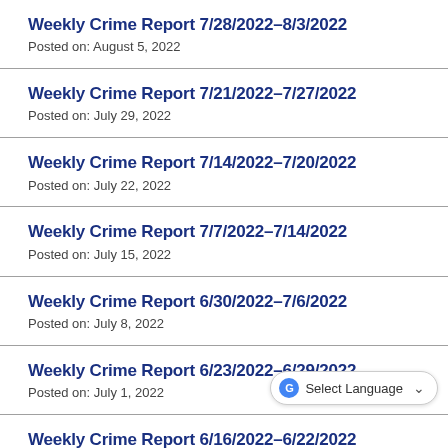Weekly Crime Report 7/28/2022–8/3/2022
Posted on: August 5, 2022
Weekly Crime Report 7/21/2022–7/27/2022
Posted on: July 29, 2022
Weekly Crime Report 7/14/2022–7/20/2022
Posted on: July 22, 2022
Weekly Crime Report 7/7/2022–7/14/2022
Posted on: July 15, 2022
Weekly Crime Report 6/30/2022–7/6/2022
Posted on: July 8, 2022
Weekly Crime Report 6/23/2022–6/29/2022
Posted on: July 1, 2022
Weekly Crime Report 6/16/2022–6/22/2022
Posted on: June 24, 2022